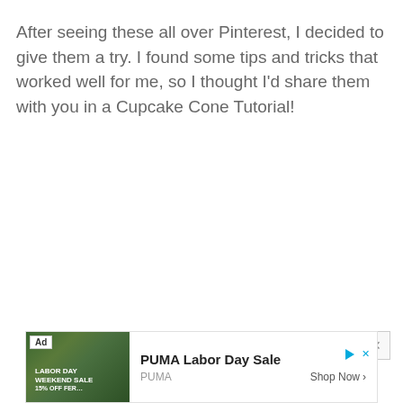After seeing these all over Pinterest, I decided to give them a try.  I found some tips and tricks that worked well for me, so I thought I'd share them with you in a Cupcake Cone Tutorial!
[Figure (screenshot): Advertisement banner for PUMA Labor Day Sale showing a person wearing PUMA gear with text 'PUMA Labor Day Sale' and 'Shop Now' button, with 'Ad' badge in top left corner.]